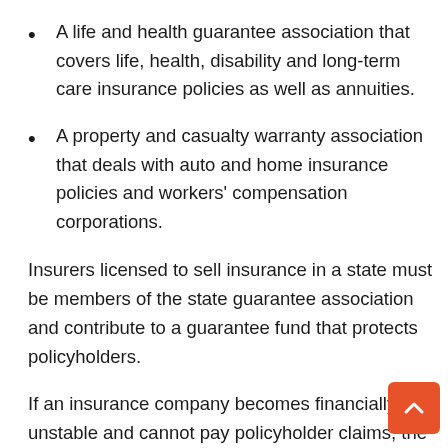A life and health guarantee association that covers life, health, disability and long-term care insurance policies as well as annuities.
A property and casualty warranty association that deals with auto and home insurance policies and workers' compensation corporations.
Insurers licensed to sell insurance in a state must be members of the state guarantee association and contribute to a guarantee fund that protects policyholders.
If an insurance company becomes financially unstable and cannot pay policyholder claims, the